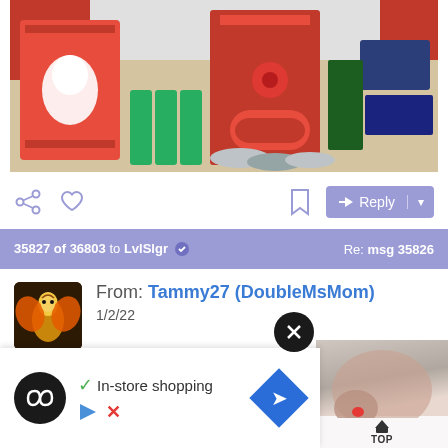[Figure (photo): Christmas items including gift bags, Pringles cans, snacks, and various holiday products on a table with people in background]
[Figure (screenshot): Social media post action bar with share, heart, bookmark icons and Reply button]
35827 of 36803 to LvlSlgr ✓  Re: msg 35826
From: Tammy27 (DoubleMsMom)
1/2/22
White Christmas Monthl...
[Figure (screenshot): Ad overlay showing a logo with infinity symbol, checkmark with 'In-store shopping' text, navigation arrow icon, play button and close X button]
[Figure (screenshot): Side thumbnail showing a leg/foot image with TOP button]
[Figure (screenshot): Close button circle with X]